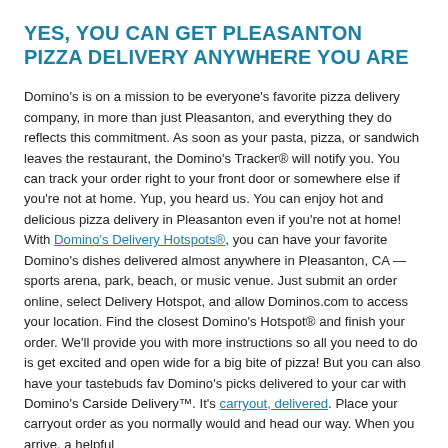YES, YOU CAN GET PLEASANTON PIZZA DELIVERY ANYWHERE YOU ARE
Domino's is on a mission to be everyone's favorite pizza delivery company, in more than just Pleasanton, and everything they do reflects this commitment. As soon as your pasta, pizza, or sandwich leaves the restaurant, the Domino's Tracker® will notify you. You can track your order right to your front door or somewhere else if you're not at home. Yup, you heard us. You can enjoy hot and delicious pizza delivery in Pleasanton even if you're not at home! With Domino's Delivery Hotspots®, you can have your favorite Domino's dishes delivered almost anywhere in Pleasanton, CA — sports arena, park, beach, or music venue. Just submit an order online, select Delivery Hotspot, and allow Dominos.com to access your location. Find the closest Domino's Hotspot® and finish your order. We'll provide you with more instructions so all you need to do is get excited and open wide for a big bite of pizza! But you can also have your tastebuds fav Domino's picks delivered to your car with Domino's Carside Delivery™. It's carryout, delivered. Place your carryout order as you normally would and head our way. When you arrive, a helpful